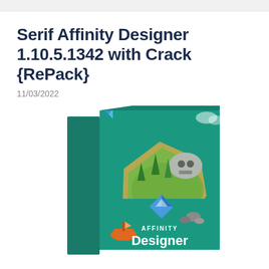Serif Affinity Designer 1.10.5.1342 with Crack {RePack}
11/03/2022
[Figure (photo): Product box for Serif Affinity Designer software, showing a 3D box with teal/green color scheme featuring a low-poly island scene with a skull-shaped rock formation, trees, a small orange boat, and the Affinity Designer logo. The spine reads 'Serif Affinity Designer'. The front shows the AFFINITY Designer branding with the blue geometric butterfly/diamond logo.]